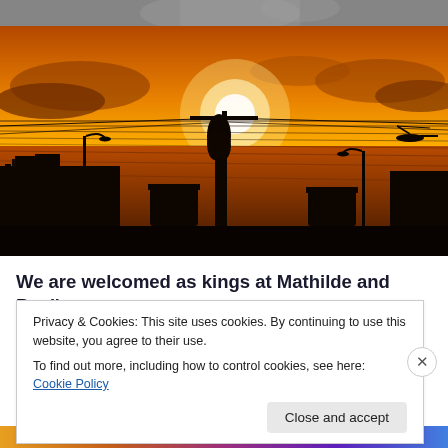[Figure (photo): Partial top of an image showing a decorative architectural element or sculpture against a grey background, cropped to a thin strip.]
[Figure (photo): Sunset photograph showing a bright orange and golden sky with the sun near the horizon, silhouettes of buildings, utility poles, power lines, and a street lamp in the foreground. A body of water is visible in the middle distance.]
We are welcomed as kings at Mathilde and Paul's.
Privacy & Cookies: This site uses cookies. By continuing to use this website, you agree to their use.
To find out more, including how to control cookies, see here: Cookie Policy
Close and accept